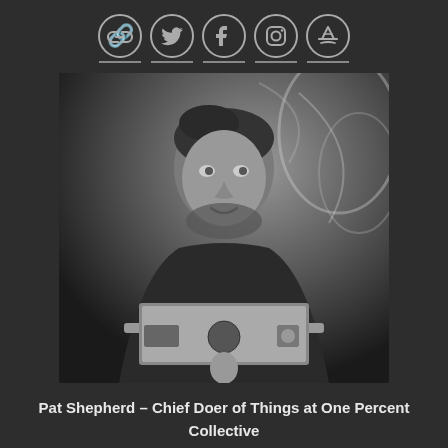[Figure (other): Row of five social media icons (link, Twitter, Facebook, Instagram, App Store) each with an underline, on dark background]
[Figure (photo): Black and white portrait photo of Pat Shepherd, a man with beard and tousled hair, sitting with a laptop decorated with stickers, in front of a mural background]
Pat Shepherd – Chief Doer of Things at One Percent Collective